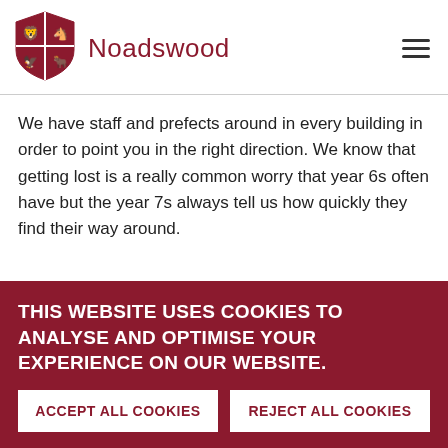Noadswood
We have staff and prefects around in every building in order to point you in the right direction. We know that getting lost is a really common worry that year 6s often have but the year 7s always tell us how quickly they find their way around.
THIS WEBSITE USES COOKIES TO ANALYSE AND OPTIMISE YOUR EXPERIENCE ON OUR WEBSITE.
ACCEPT ALL COOKIES
REJECT ALL COOKIES